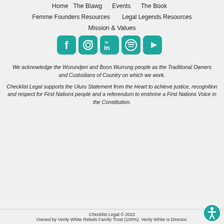Home   The Blawg   Events   The Book
Femme Founders Resources   Legal Legends Resources
Mission & Values
[Figure (infographic): Row of 5 social media icons in teal: Facebook, Instagram, LinkedIn, Spotify, YouTube]
We acknowledge the Wurundjeri and Boon Wurrung people as the Traditional Owners and Custodians of Country on which we work.
Checklist Legal supports the Uluru Statement from the Heart to achieve justice, recognition and respect for First Nations people and a referendum to enshrine a First Nations Voice in the Constitution.
Checklist Legal © 2022
Owned by Verity White Rebels Family Trust (100%). Verity White is Director.